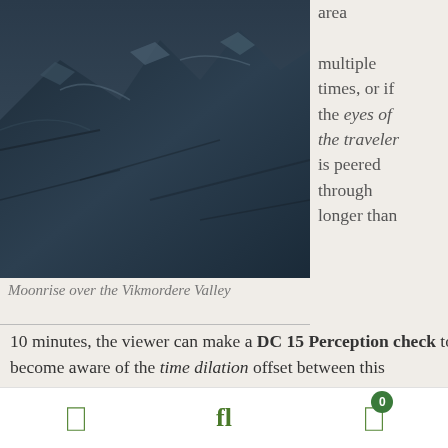[Figure (photo): Aerial or close-up photograph of a mountain valley with a dark blue-grey rocky landscape, showing snowy or icy terrain — Moonrise over the Vikmordere Valley]
Moonrise over the Vikmordere Valley
area multiple times, or if the eyes of the traveler is peered through longer than 10 minutes, the viewer can make a DC 15 Perception check to become aware of the time dilation offset between this dimension and Aventyr (for instance they may notice clouds moving quickly or the expedited rising and setting of the sun or moon). The time dilation offset is roughly equivalent to one day passing on the prime Material Plane for every 4 hours that pass in Uldonion.